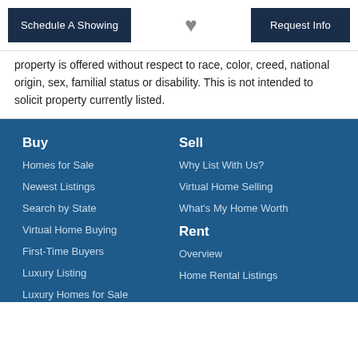Schedule A Showing | [heart icon] | Request Info
property is offered without respect to race, color, creed, national origin, sex, familial status or disability. This is not intended to solicit property currently listed.
Buy
Homes for Sale
Newest Listings
Search by State
Virtual Home Buying
First-Time Buyers
Luxury Listing
Luxury Homes for Sale
Sell
Why List With Us?
Virtual Home Selling
What's My Home Worth
Rent
Overview
Home Rental Listings